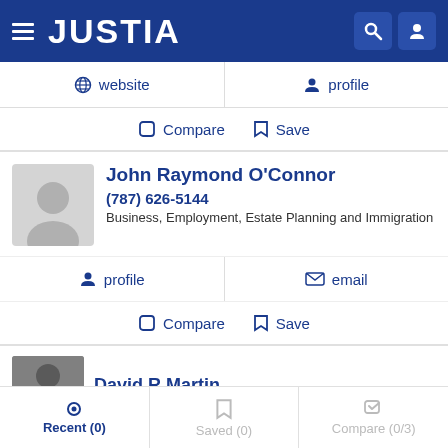JUSTIA
website  |  profile
Compare  Save
John Raymond O'Connor
(787) 626-5144
Business, Employment, Estate Planning and Immigration
profile  email
Compare  Save
David R Martin
Recent (0)  Saved (0)  Compare (0/3)